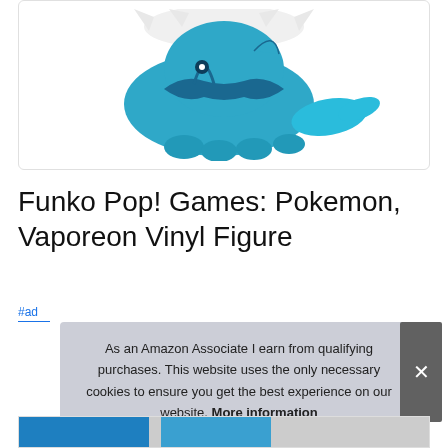[Figure (photo): Funko Pop! Vaporeon vinyl figure toy, teal/blue colored Pokemon character in squatting pose with fins, shown from side angle against white background inside a rounded rectangle border]
Funko Pop! Games: Pokemon, Vaporeon Vinyl Figure
#ad
As an Amazon Associate I earn from qualifying purchases. This website uses the only necessary cookies to ensure you get the best experience on our website. More information